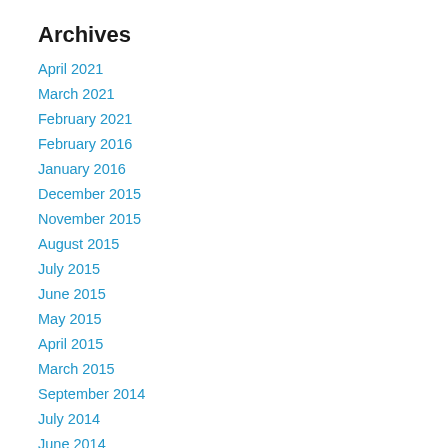Archives
April 2021
March 2021
February 2021
February 2016
January 2016
December 2015
November 2015
August 2015
July 2015
June 2015
May 2015
April 2015
March 2015
September 2014
July 2014
June 2014
May 2014
March 2014